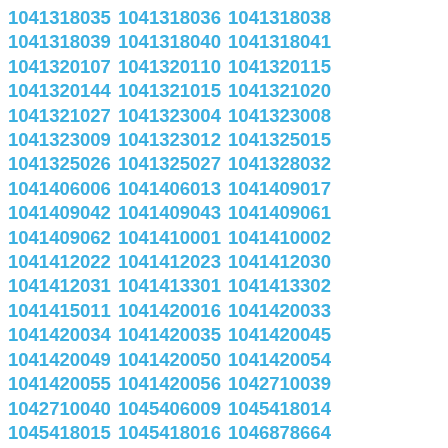1041318035 1041318036 1041318038 1041318039 1041318040 1041318041 1041320107 1041320110 1041320115 1041320144 1041321015 1041321020 1041321027 1041323004 1041323008 1041323009 1041323012 1041325015 1041325026 1041325027 1041328032 1041406006 1041406013 1041409017 1041409042 1041409043 1041409061 1041409062 1041410001 1041410002 1041412022 1041412023 1041412030 1041412031 1041413301 1041413302 1041415011 1041420016 1041420033 1041420034 1041420035 1041420045 1041420049 1041420050 1041420054 1041420055 1041420056 1042710039 1042710040 1045406009 1045418014 1045418015 1045418016 1046878664 1046901016 1046901019 1046905004 1046905141 1046905142 1046906007 1046907055 1046907060 1046907061 1046909008 1046909033 1046909034 1046909096 1046909097 1046910413 1046911008 1046911009 1046911010 1046911011 1046911020 1046911027 1046911028 1046911036 1046911040 1046911058 1046911060 1046911066 1046911067 1046911068 1046911069 1046911072 1046911075 1046911076 1046911077 1046911079 1046911084 1046911089 1046911091 1046911092 1046911093 1046918951